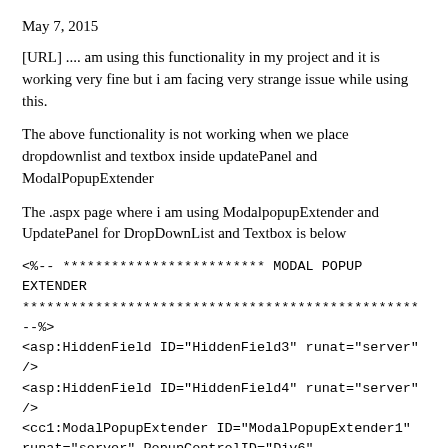May 7, 2015
[URL] .... am using this functionality in my project and it is working very fine but i am facing very strange issue while using this.
The above functionality is not working when we place dropdownlist and textbox inside updatePanel and ModalPopupExtender
The .aspx page where i am using ModalpopupExtender and UpdatePanel for DropDownList and Textbox is below
<%-- ************************* MODAL POPUP EXTENDER
*************************************************
--%>
<asp:HiddenField ID="HiddenField3" runat="server" />
<asp:HiddenField ID="HiddenField4" runat="server" />
<cc1:ModalPopupExtender ID="ModalPopupExtender1"
runat="server" PopupControlID="Div6"
TargetControlID="HiddenField3"
BackgroundCssClass="modalBackground"
CancelControlID="bclosemodalpopup" >
</cc1:ModalPopupExtender>